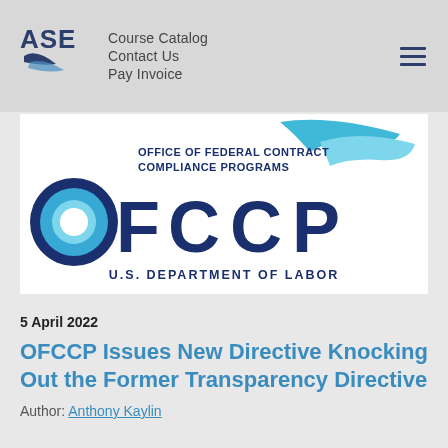Course Catalog | Contact Us | Pay Invoice
[Figure (logo): OFCCP Office of Federal Contract Compliance Programs logo with U.S. Department of Labor text. Features large dark blue letters OFCCP with circular blue/cyan design element and swoosh, on white background.]
5 April 2022
OFCCP Issues New Directive Knocking Out the Former Transparency Directive
Author: Anthony Kaylin